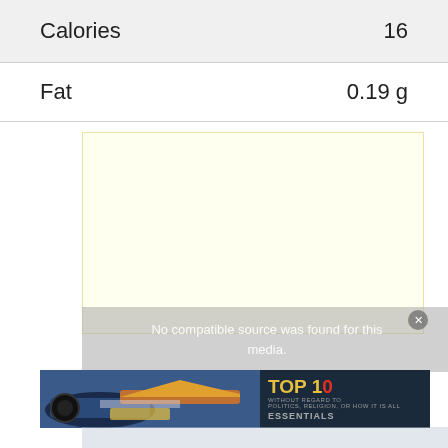|  |  |
| --- | --- |
| Calories | 16 |
| Fat | 0.19 g |
[Figure (other): Yellow advertisement placeholder box with video overlay message 'No compatible source was found for this media.' and banner advertisement showing airplane cargo loading scene with 'TOP 10 ESSENTIALS' text]